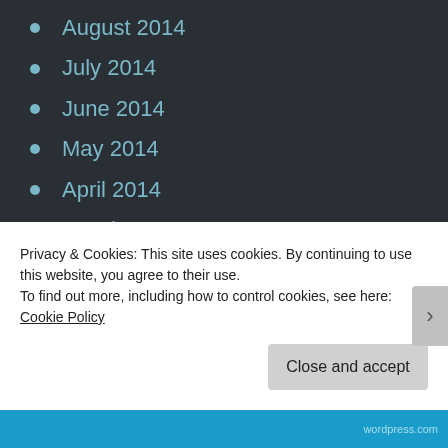August 2014
July 2014
June 2014
May 2014
April 2014
March 2014
February 2014
January 2014
December 2013
November 2013
October 2013
September 2013
Privacy & Cookies: This site uses cookies. By continuing to use this website, you agree to their use. To find out more, including how to control cookies, see here: Cookie Policy
Close and accept